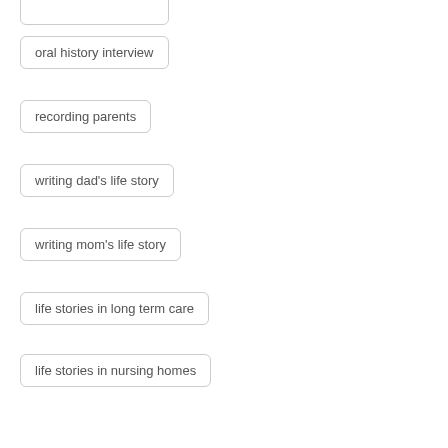oral history interview
recording parents
writing dad's life story
writing mom's life story
life stories in long term care
life stories in nursing homes
video recording in senior living
writing autobiographies in senior living
best gift ideas
christmas gifts
gifts for dad
gifts for grandma